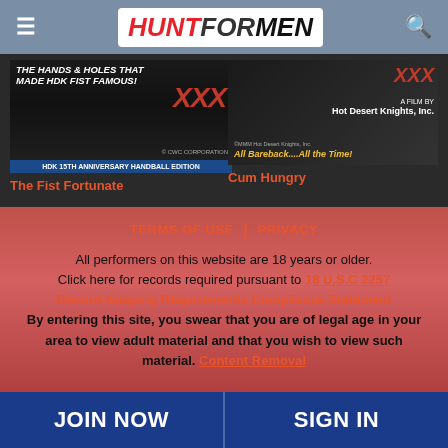HUNT FOR MEN
[Figure (screenshot): Movie thumbnail for 'The Fist Fortunate' showing XXX text and HDK 15TH ANNIVERSARY HANDBALL EDITION banner]
The Fist Fortunate
[Figure (screenshot): Movie thumbnail for 'Cum Hungry' showing A FILM BY Hot Desert Knights Inc. and All Bareback....All the Time!]
Cum Hungry
TERMS OF USE | PRIVACY
All performers on this website are 18 years or older. Click here for records required pursuant to 18 U.S.C 2257 Record-Keeping Requirements Compliance Statement By entering this site, you swear that you are of legal age in your area to view adult material and that you wish to view such material. Content Removal
JOIN NOW   SIGN IN